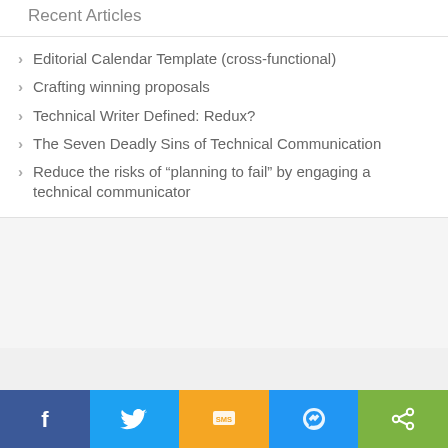Recent Articles
Editorial Calendar Template (cross-functional)
Crafting winning proposals
Technical Writer Defined: Redux?
The Seven Deadly Sins of Technical Communication
Reduce the risks of “planning to fail” by engaging a technical communicator
[Figure (other): Social sharing bar with Facebook, Twitter, SMS, Messenger, and Share buttons]